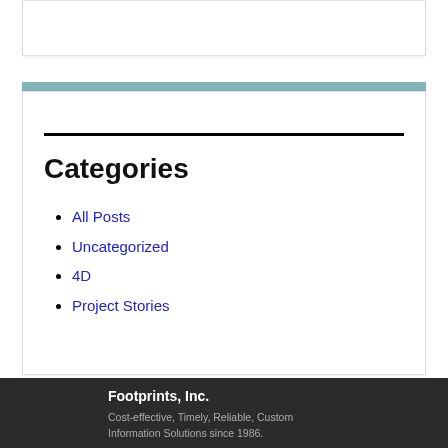Categories
All Posts
Uncategorized
4D
Project Stories
Footprints, Inc.
Cost-effective, Timely, Reliable, Custom Information Solutions since 1986.